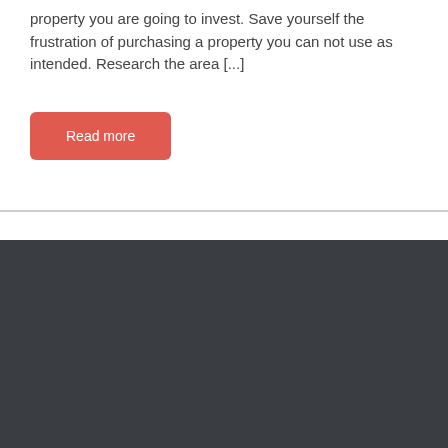property you are going to invest.  Save yourself the frustration of purchasing a property you can not use as intended. Research the area [...]
Read more
WE ACCEPT | For more Information | Useful Link | Legal Descriptions Explained | Please call 888-886-2446
[Figure (logo): Payment card logos: VISA, MasterCard, American Express, Discover]
For more Information
Please call 888-886-2446
Useful Link
Legal Descriptions Explained